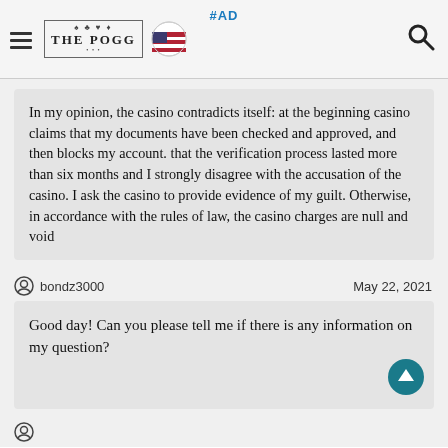#AD THE POGG [US flag]
In my opinion, the casino contradicts itself: at the beginning casino claims that my documents have been checked and approved, and then blocks my account. that the verification process lasted more than six months and I strongly disagree with the accusation of the casino. I ask the casino to provide evidence of my guilt. Otherwise, in accordance with the rules of law, the casino charges are null and void
bondz3000   May 22, 2021
Good day! Can you please tell me if there is any information on my question?